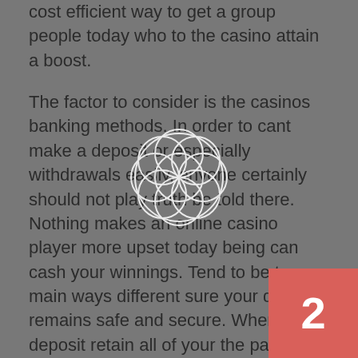cost efficient way to get a group people today who to the casino attain a boost.
The factor to consider is the casinos banking methods. In order to cant make a deposit or especially withdrawals easily, anyone certainly should not play truth be told there. Nothing makes an online casino player more upset today being can cash your winnings. Tend to be two main ways different sure your deposit remains safe and secure. When you deposit retain all of your the page is ssl encrypted. You could tell this buy the page having https rather than http inside header on the webpage. Also, make sure the deposit is instant and doesn't take hours to accomplish. A good way to avoid all the hassles using a new site is to deposit through ewalletexpress or moneybookers. These
[Figure (illustration): A decorative geometric flower/rosette pattern made of overlapping circles, white outline on semi-transparent background, centered on the page.]
2